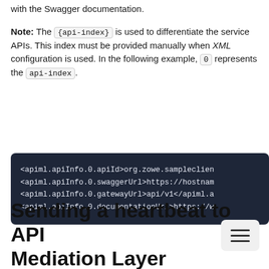with the Swagger documentation.
Note: The {api-index} is used to differentiate the service APIs. This index must be provided manually when XML configuration is used. In the following example, 0 represents the api-index.
<apiml.apiInfo.0.apiId>org.zowe.sampleclien
<apiml.apiInfo.0.swaggerUrl>https://hostnam
<apiml.apiInfo.0.gatewayUrl>api/v1</apiml.a
<apiml.apiInfo.0.documentationUrl>https://w
Sending a heartbeat to API Mediation Layer Discovery Service